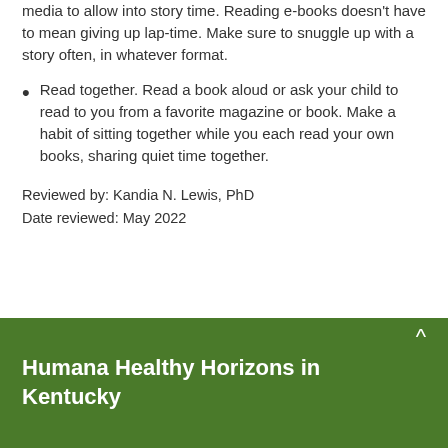media to allow into story time. Reading e-books doesn't have to mean giving up lap-time. Make sure to snuggle up with a story often, in whatever format.
Read together. Read a book aloud or ask your child to read to you from a favorite magazine or book. Make a habit of sitting together while you each read your own books, sharing quiet time together.
Reviewed by: Kandia N. Lewis, PhD
Date reviewed: May 2022
Humana Healthy Horizons in Kentucky